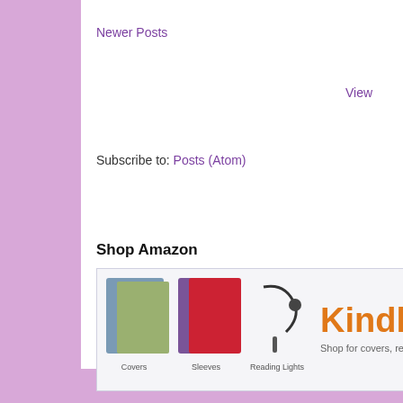Newer Posts
View
Subscribe to: Posts (Atom)
Shop Amazon
[Figure (illustration): Amazon Kindle accessories banner ad showing covers, sleeves, reading lights and Kindle A heading with 'Shop for covers, re...' subtext]